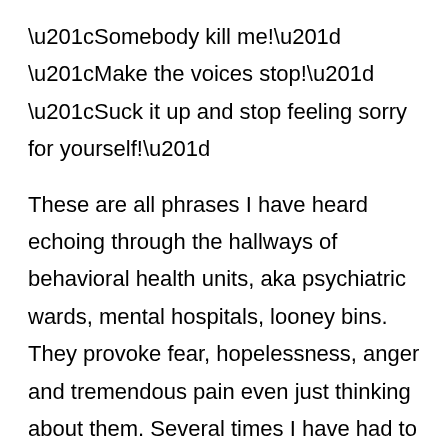“Somebody kill me!” “Make the voices stop!” “Suck it up and stop feeling sorry for yourself!”
These are all phrases I have heard echoing through the hallways of behavioral health units, aka psychiatric wards, mental hospitals, looney bins. They provoke fear, hopelessness, anger and tremendous pain even just thinking about them. Several times I have had to admit myself to a hospital when I feared I was no longer safe from myself or was experiencing dangerous effects from medication. I have gone with the intention of undertaking intensive medication changes, therapy and round the clock care. I have been lucky to have had fairly adequate stays at one particular hospital, however, I have also been the main